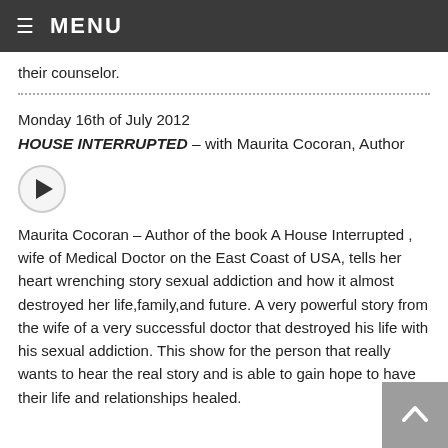≡ MENU
their counselor.
Monday 16th of July 2012
HOUSE INTERRUPTED – with Maurita Cocoran, Author
[Figure (other): Audio play button (circular play icon)]
Maurita Cocoran – Author of the book A House Interrupted , wife of Medical Doctor on the East Coast of USA, tells her heart wrenching story sexual addiction and how it almost destroyed her life,family,and future. A very powerful story from the wife of a very successful doctor that destroyed his life with his sexual addiction. This show for the person that really wants to hear the real story and is able to gain hope to have their life and relationships healed.